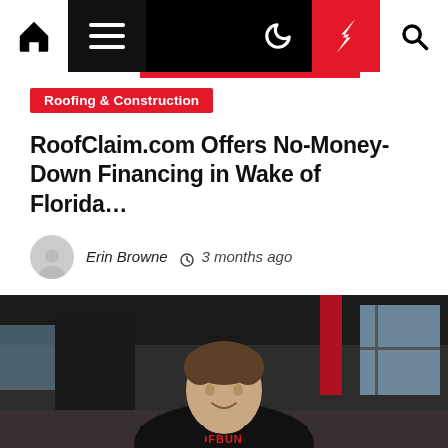Navigation bar with home, menu, moon, lightning, and search icons
Roofing & Construction
RoofClaim.com Offers No-Money-Down Financing in Wake of Florida…
Erin Browne  3 months ago
[Figure (photo): A man in a black RoofBundle t-shirt smiling, photographed indoors with industrial-style background featuring red and dark structural elements and large windows.]